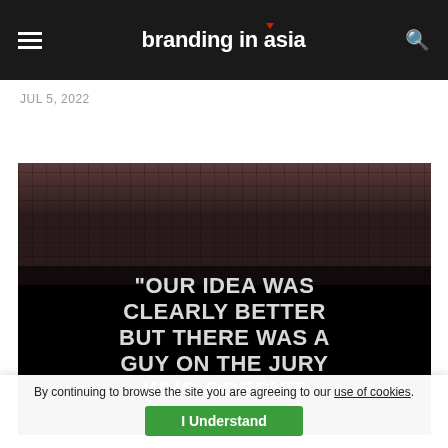branding in asia
JUL 5, 2022
[Figure (photo): Pixelated/blurred face on black background with overlaid bold white text quote: "OUR IDEA WAS CLEARLY BETTER BUT THERE WAS A GUY ON THE JURY WHO DOESN'T LIKE ME"]
By continuing to browse the site you are agreeing to our use of cookies.
I Understand